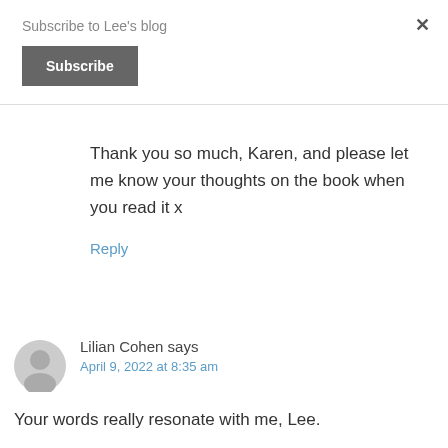Subscribe to Lee's blog
Subscribe
Thank you so much, Karen, and please let me know your thoughts on the book when you read it x
Reply
Lilian Cohen says
April 9, 2022 at 8:35 am
Your words really resonate with me, Lee.